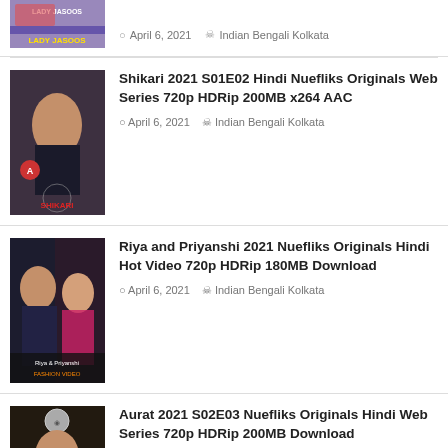[Figure (photo): Lady Jasoos thumbnail image - partial view at top]
April 6, 2021  Indian Bengali Kolkata
Shikari 2021 S01E02 Hindi Nuefliks Originals Web Series 720p HDRip 200MB x264 AAC
[Figure (photo): Shikari web series thumbnail - woman in dark outfit with SHIKARI text]
April 6, 2021  Indian Bengali Kolkata
Riya and Priyanshi 2021 Nuefliks Originals Hindi Hot Video 720p HDRip 180MB Download
[Figure (photo): Riya and Priyanshi fashion video thumbnail with two women]
April 6, 2021  Indian Bengali Kolkata
Aurat 2021 S02E03 Nuefliks Originals Hindi Web Series 720p HDRip 200MB Download
[Figure (photo): Aurat web series thumbnail - woman looking down with AURAT text]
April 2, 2021  Indian Bengali Kolkata